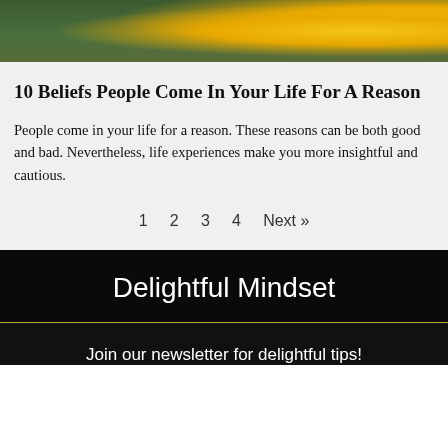[Figure (photo): Partial photo showing a person with sunflowers and green leaves, cropped at top of page]
10 Beliefs People Come In Your Life For A Reason
People come in your life for a reason. These reasons can be both good and bad. Nevertheless, life experiences make you more insightful and cautious.
1   2   3   4   Next »
Delightful Mindset
Join our newsletter for delightful tips!